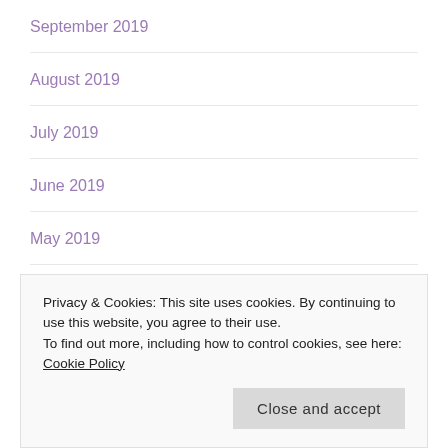September 2019
August 2019
July 2019
June 2019
May 2019
April 2019
March 2019
Privacy & Cookies: This site uses cookies. By continuing to use this website, you agree to their use.
To find out more, including how to control cookies, see here: Cookie Policy
Close and accept